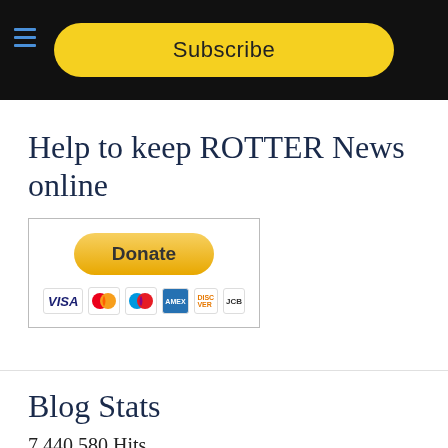Subscribe
Help to keep ROTTER News online
[Figure (other): PayPal Donate button with payment card icons (Visa, Mastercard, Maestro, American Express, Discover, JCB)]
Blog Stats
7,440,580 Hits